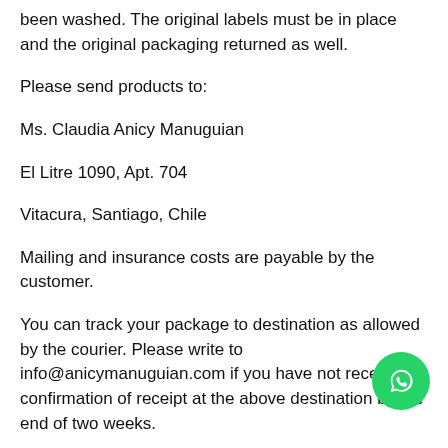been washed. The original labels must be in place and the original packaging returned as well.
Please send products to:
Ms. Claudia Anicy Manuguian
El Litre 1090, Apt. 704
Vitacura, Santiago, Chile
Mailing and insurance costs are payable by the customer.
You can track your package to destination as allowed by the courier. Please write to info@anicymanuguian.com if you have not received confirmation of receipt at the above destination by the end of two weeks.
*Customers must confirm the condition of their